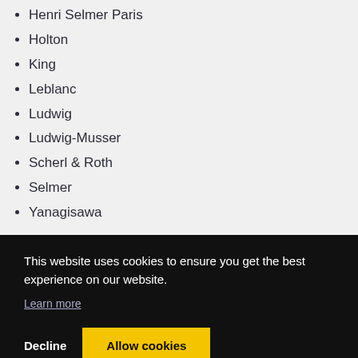Henri Selmer Paris
Holton
King
Leblanc
Ludwig
Ludwig-Musser
Scherl & Roth
Selmer
Yanagisawa
This website uses cookies to ensure you get the best experience on our website.
Learn more
Decline
Allow cookies
About Us